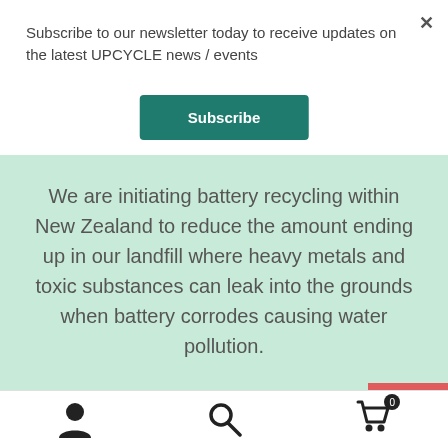Subscribe to our newsletter today to receive updates on the latest UPCYCLE news / events
Subscribe
We are initiating battery recycling within New Zealand to reduce the amount ending up in our landfill where heavy metals and toxic substances can leak into the grounds when battery corrodes causing water pollution.
[Figure (screenshot): Red button with monitor/screen icon on right side]
[Figure (screenshot): Green button with battery icon on right side]
[Figure (screenshot): Blue button with phone/call icon on right side]
[Figure (photo): Partial view of a hard disk drive (HDD)]
[Figure (infographic): Bottom navigation bar with user icon, search icon, and shopping cart with badge showing 0]